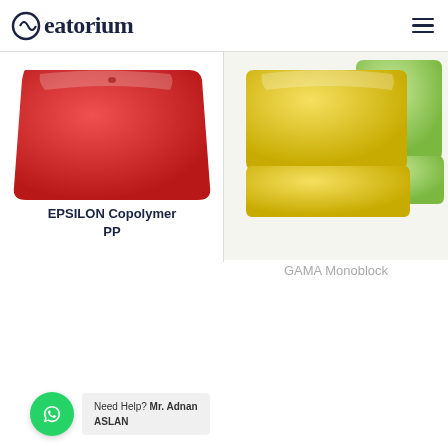Seatorium
[Figure (photo): Red copolymer PP seat product photo on white background]
[Figure (photo): Yellow and green monoblock stadium seats on white background]
EPSILON Copolymer PP
GAMA Monoblock
Need Help? Mr. Adnan ASLAN